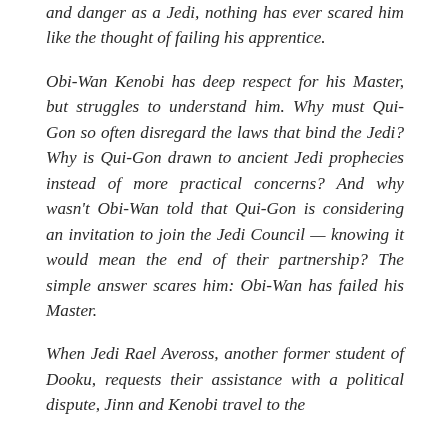and danger as a Jedi, nothing has ever scared him like the thought of failing his apprentice.
Obi-Wan Kenobi has deep respect for his Master, but struggles to understand him. Why must Qui-Gon so often disregard the laws that bind the Jedi? Why is Qui-Gon drawn to ancient Jedi prophecies instead of more practical concerns? And why wasn't Obi-Wan told that Qui-Gon is considering an invitation to join the Jedi Council — knowing it would mean the end of their partnership? The simple answer scares him: Obi-Wan has failed his Master.
When Jedi Rael Aveross, another former student of Dooku, requests their assistance with a political dispute, Jinn and Kenobi travel to the